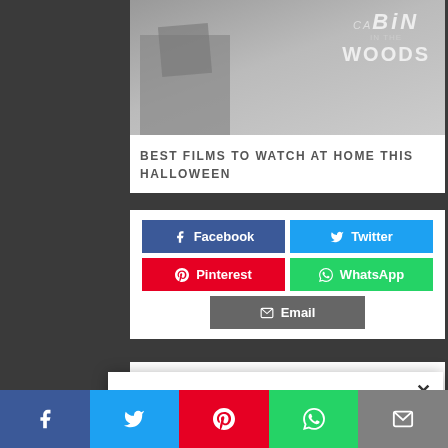[Figure (photo): Movie poster for 'Cabin in the Woods' - dark horror movie image with a cabin structure]
BEST FILMS TO WATCH AT HOME THIS HALLOWEEN
[Figure (infographic): Social sharing buttons: Facebook, Twitter, Pinterest, WhatsApp, Email]
Halloween is upon us. The nights are drawing in. Our cinemas are haunted by modern
[Figure (infographic): Popup social sharing panel with close button, Facebook, Twitter, Pinterest, WhatsApp, Email buttons]
[Figure (infographic): Bottom sticky share bar with Facebook, Twitter, Pinterest, WhatsApp, Email icons]